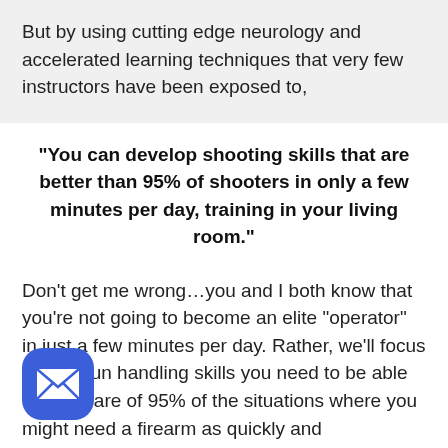But by using cutting edge neurology and accelerated learning techniques that very few instructors have been exposed to,
"You can develop shooting skills that are better than 95% of shooters in only a few minutes per day, training in your living room."
Don’t get me wrong…you and I both know that you’re not going to become an elite “operator” in just a few minutes per day. Rather, we’ll focus on the gun handling skills you need to be able to take care of 95% of the situations where you might need a firearm as quickly and